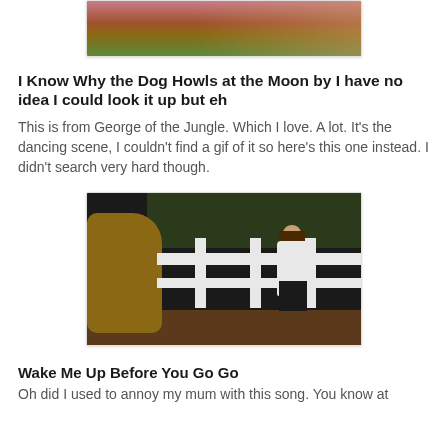[Figure (photo): Partial top of an image showing a woman outdoors with flowers, cropped at top of page]
I Know Why the Dog Howls at the Moon by I have no idea I could look it up but eh
This is from George of the Jungle. Which I love. A lot. It's the dancing scene, I couldn't find a gif of it so here's this one instead. I didn't search very hard though.
[Figure (photo): A man in an open white shirt running near a white fence with a horse on the left, dark trees in background - from George of the Jungle movie]
Wake Me Up Before You Go Go
Oh did I used to annoy my mum with this song. You know at